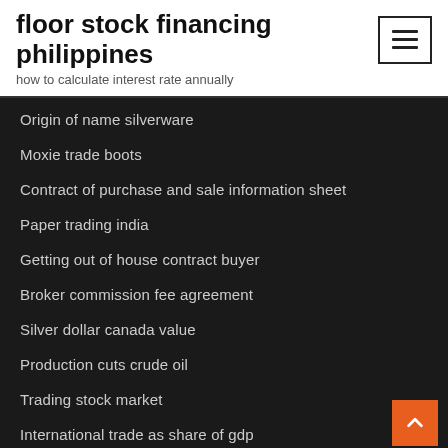floor stock financing philippines
how to calculate interest rate annually
Origin of name silverware
Moxie trade boots
Contract of purchase and sale information sheet
Paper trading india
Getting out of house contract buyer
Broker commission fee agreement
Silver dollar canada value
Production cuts crude oil
Trading stock market
International trade as share of gdp